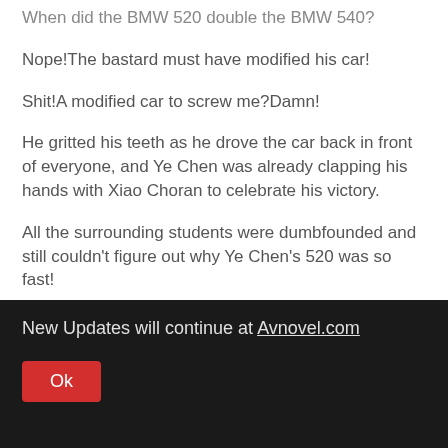When did the BMW 520 double the BMW 540?
Nope!The bastard must have modified his car!
Shit!A modified car to screw me?Damn!
He gritted his teeth as he drove the car back in front of everyone, and Ye Chen was already clapping his hands with Xiao Choran to celebrate his victory.
All the surrounding students were dumbfounded and still couldn't figure out why Ye Chen's 520 was so fast!
Wang Tengfei stopped the car and angrily stepped out and roared, "Damn it, Ye Chen!You're ripping me off with a modified car, right?This game doesn't count!How do I
New Updates will continue at Avnovel.com
Ok